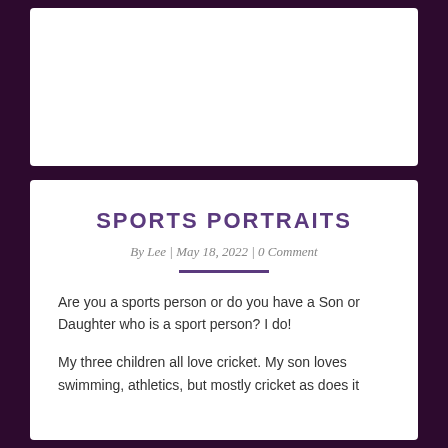[Figure (other): White card/panel at top of page, appears to be a placeholder or image area with no visible content]
SPORTS PORTRAITS
By Lee | May 18, 2022 | 0 Comment
Are you a sports person or do you have a Son or Daughter who is a sport person? I do!
My three children all love cricket. My son loves swimming, athletics, but mostly cricket as does it